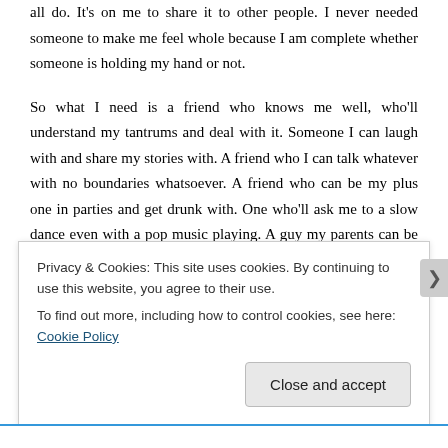all do. It's on me to share it to other people. I never needed someone to make me feel whole because I am complete whether someone is holding my hand or not.
So what I need is a friend who knows me well, who'll understand my tantrums and deal with it. Someone I can laugh with and share my stories with. A friend who I can talk whatever with no boundaries whatsoever. A friend who can be my plus one in parties and get drunk with. One who'll ask me to a slow dance even with a pop music playing. A guy my parents can be comfortable with. Just someone who gets me. I have always believed that two opposite genders can have a platonic relationship. Being anything more than friends is just another label. What matters is the strong foundation and relationship I have with that person. If it turns out that my best
Privacy & Cookies: This site uses cookies. By continuing to use this website, you agree to their use.
To find out more, including how to control cookies, see here: Cookie Policy
Close and accept